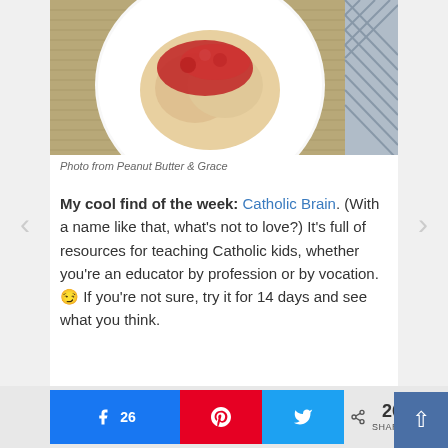[Figure (photo): Top-down photo of a white plate with biscuits and red jam/strawberry topping on a woven mat background, with a striped cloth in the corner.]
Photo from Peanut Butter & Grace
My cool find of the week: Catholic Brain. (With a name like that, what's not to love?) It's full of resources for teaching Catholic kids, whether you're an educator by profession or by vocation. 😉 If you're not sure, try it for 14 days and see what you think.
[Figure (logo): Catholic Brain logo: large teal CATHOLIC text with colorful triangular shapes below forming the word BRAIN]
26  [Pinterest]  [Twitter]  < 26 SHARES